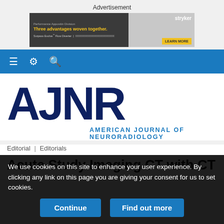Advertisement
[Figure (other): Stryker advertisement banner: 'Three advantages woven together.' with LEARN MORE button]
[Figure (other): Navigation bar with hamburger menu, settings gear, and search icons on blue background]
[Figure (logo): AJNR American Journal of Neuroradiology logo]
Editorial | Editorials
Acute Stroke Imaging CT with CT
We use cookies on this site to enhance your user experience. By clicking any link on this page you are giving your consent for us to set cookies.
Continue
Find out more